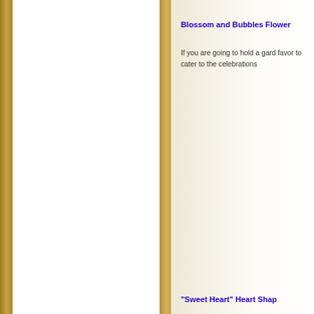Blossom and Bubbles Flower
If you are going to hold a gard favor to cater to the celebrations
"Sweet Heart" Heart Shaped